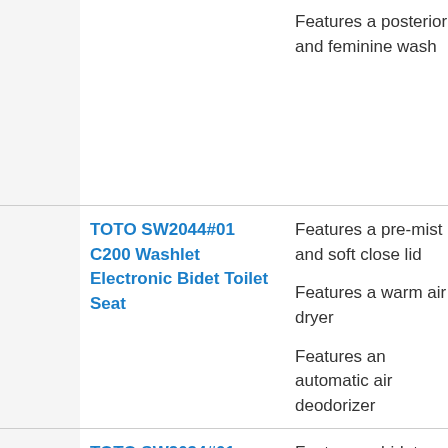|  | Product | Features | Rating |
| --- | --- | --- | --- |
|  |  | Features a posterior and feminine wash |  |
|  | TOTO SW2044#01 C200 Washlet Electronic Bidet Toilet Seat | Features a pre-mist and soft close lid
Features a warm air dryer
Features an automatic air deodorizer | 4.6 out of 5 |
|  | TOTO SW2034#01 Elongated C100 Washlet | Features a bidet with cutting-edge technology | 4.7 out of 5 |